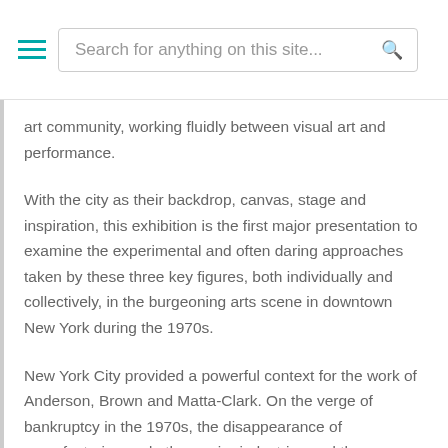Search for anything on this site...
art community, working fluidly between visual art and performance.
With the city as their backdrop, canvas, stage and inspiration, this exhibition is the first major presentation to examine the experimental and often daring approaches taken by these three key figures, both individually and collectively, in the burgeoning arts scene in downtown New York during the 1970s.
New York City provided a powerful context for the work of Anderson, Brown and Matta-Clark. On the verge of bankruptcy in the 1970s, the disappearance of manufacturing and other major industries and the withdrawal of public services were turning the city into a centre of widespread unemployment and lawlessness. Artists responded by taking over derelict spaces to make...